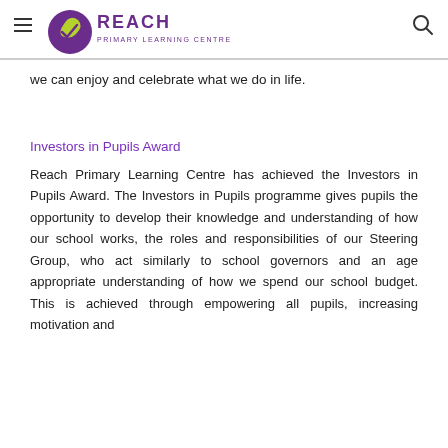REACH PRIMARY LEARNING CENTRE
we can enjoy and celebrate what we do in life.
Investors in Pupils Award
Reach Primary Learning Centre has achieved the Investors in Pupils Award. The Investors in Pupils programme gives pupils the opportunity to develop their knowledge and understanding of how our school works, the roles and responsibilities of our Steering Group, who act similarly to school governors and an age appropriate understanding of how we spend our school budget. This is achieved through empowering all pupils, increasing motivation and